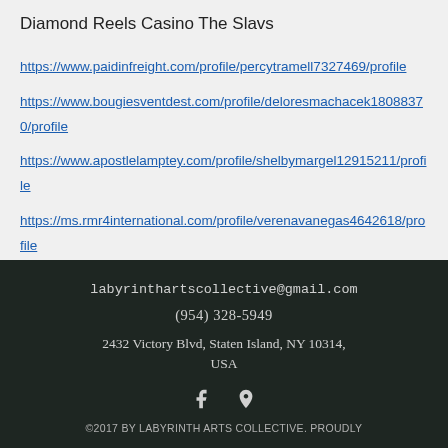Diamond Reels Casino The Slavs
https://www.paidinfreight.com/profile/percytramell7327469/profile
https://www.bougiesventdest.com/profile/deloresmachacek18088370/profile
https://www.apostlelamptey.com/profile/shelbymargel12915211/profile
https://ms.rmr4international.com/profile/verenavanegas4642618/profile
labyrinthartscollective@gmail.com
(954) 328-5949
2432 Victory Blvd, Staten Island, NY 10314, USA
©2017 BY LABYRINTH ARTS COLLECTIVE. PROUDLY